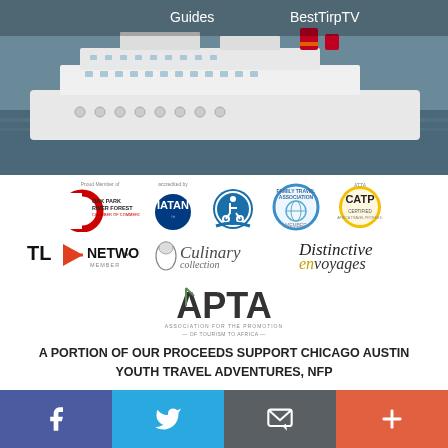Guides    BestTirpTV
[Figure (photo): Large cruise ship on water, hero banner image]
[Figure (logo): Row of membership/accreditation logos: Oak Park River Forest Chamber of Commerce (Proud Member of), IATAN (Accredited by), accessibility/disability travel accreditation badge, Family Travel Association Member, CATP certification]
[Figure (logo): TL Network Member logo, Culinary Collection logo, Distinctive Voyages logo]
[Figure (logo): APTA - Association for the Promotion of Tourism to Africa logo]
A PORTION OF OUR PROCEEDS SUPPORT CHICAGO AUSTIN YOUTH TRAVEL ADVENTURES, NFP
caytaworld.org for further details
Facebook | Twitter | Email | Plus